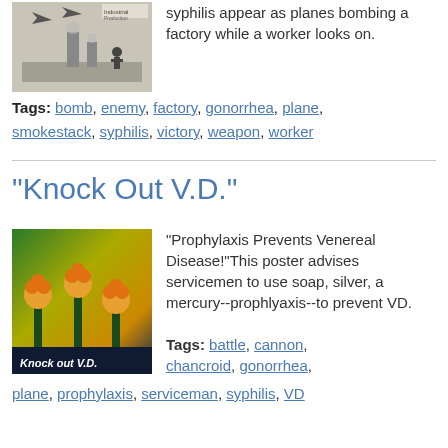[Figure (photo): Black and white illustration showing planes bombing a factory with a worker looking on, related to VD/syphilis awareness poster.]
syphilis appear as planes bombing a factory while a worker looks on.
Tags: bomb, enemy, factory, gonorrhea, plane, smokestack, syphilis, victory, weapon, worker
"Knock Out V.D."
[Figure (photo): Color poster titled 'Knock Out V.D.' showing planes or cannons with flower-like tops against a green and yellow sky background.]
"Prophylaxis Prevents Venereal Disease!"This poster advises servicemen to use soap, silver, a mercury--prophlyaxis--to prevent VD.
Tags: battle, cannon, chancroid, gonorrhea, plane, prophylaxis, serviceman, syphilis, VD